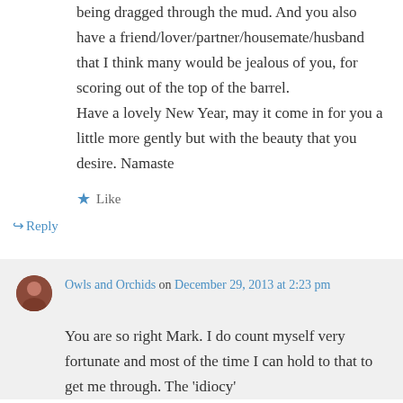being dragged through the mud. And you also have a friend/lover/partner/housemate/husband that I think many would be jealous of you, for scoring out of the top of the barrel. Have a lovely New Year, may it come in for you a little more gently but with the beauty that you desire. Namaste
★ Like
↳ Reply
Owls and Orchids on December 29, 2013 at 2:23 pm
You are so right Mark. I do count myself very fortunate and most of the time I can hold to that to get me through. The 'idiocy'